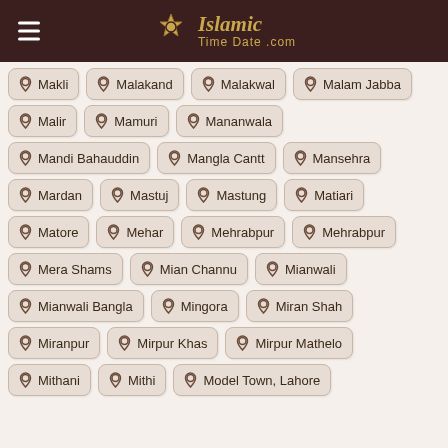IslamicTimeDate.com
Makli
Malakand
Malakwal
Malam Jabba
Malir
Mamuri
Mananwala
Mandi Bahauddin
Mangla Cantt
Mansehra
Mardan
Mastuj
Mastung
Matiari
Matore
Mehar
Mehrabpur
Mehrabpur
Mera Shams
Mian Channu
Mianwali
Mianwali Bangla
Mingora
Miran Shah
Miranpur
Mirpur Khas
Mirpur Mathelo
Mithani
Mithi
Model Town, Lahore